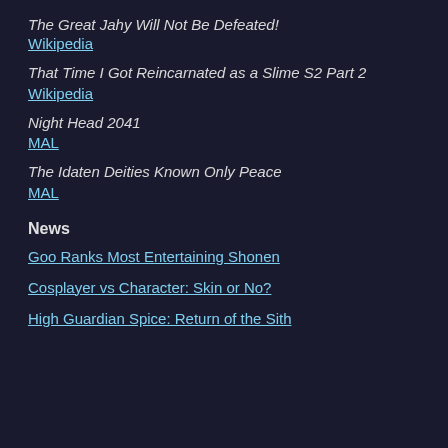The Great Jahy Will Not Be Defeated!
Wikipedia
That Time I Got Reincarnated as a Slime S2 Part 2
Wikipedia
Night Head 2041
MAL
The Idaten Deities Known Only Peace
MAL
News
Goo Ranks Most Entertaining Shonen
Cosplayer vs Character: Skin or No?
High Guardian Spice: Return of the Sith